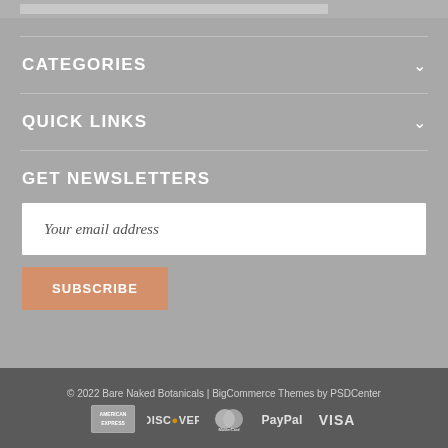CATEGORIES
QUICK LINKS
GET NEWSLETTERS
Your email address
SUBSCRIBE
© 2022 Bare Naked Botanicals | BigCommerce Themes by PSDCenter